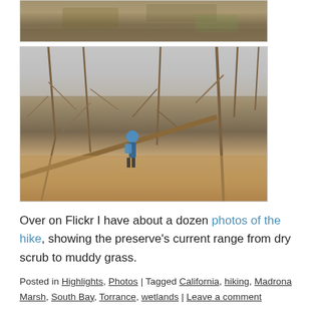[Figure (photo): Partial top view of a dirt path with fallen leaves and dried vegetation]
[Figure (photo): A child with a blue backpack standing among bare, tangled trees and dry brush in a nature preserve]
Over on Flickr I have about a dozen photos of the hike, showing the preserve's current range from dry scrub to muddy grass.
Posted in Highlights, Photos | Tagged California, hiking, Madrona Marsh, South Bay, Torrance, wetlands | Leave a comment